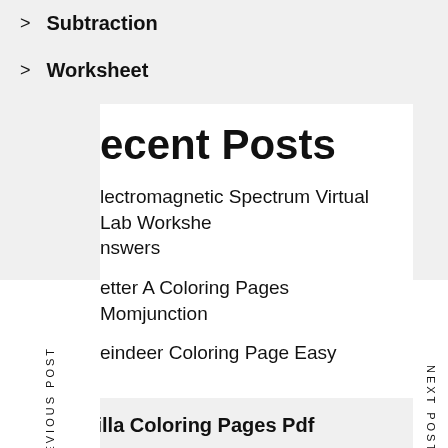Subtraction
Worksheet
Recent Posts
Electromagnetic Spectrum Virtual Lab Worksheet Answers
Letter A Coloring Pages Momjunction
Reindeer Coloring Page Easy
Godzilla Coloring Pages Pdf
4th Grade Writing Prompts Worksheets
Mitosis And Meiosis Worksheet Answers